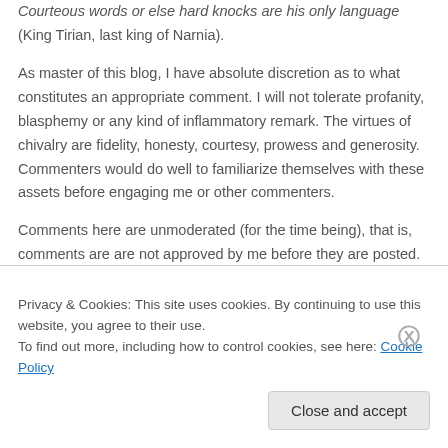Courteous words or else hard knocks are his only language (King Tirian, last king of Narnia).
As master of this blog, I have absolute discretion as to what constitutes an appropriate comment. I will not tolerate profanity, blasphemy or any kind of inflammatory remark. The virtues of chivalry are fidelity, honesty, courtesy, prowess and generosity. Commenters would do well to familiarize themselves with these assets before engaging me or other commenters.
Comments here are unmoderated (for the time being), that is, comments are are not approved by me before they are posted. This may change if need be. I reserve the absolute right to edit or delete any and all comments; however, I will make note of such alterations and deletions when I see cause for them.
Privacy & Cookies: This site uses cookies. By continuing to use this website, you agree to their use.
To find out more, including how to control cookies, see here: Cookie Policy